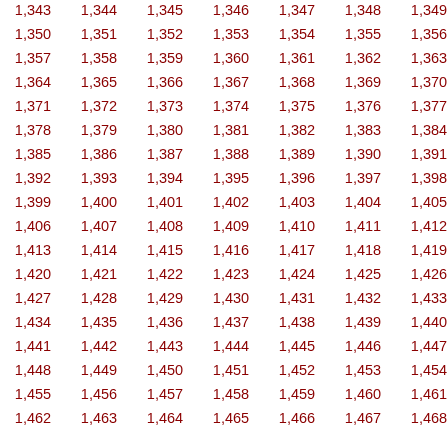| 1,343 | 1,344 | 1,345 | 1,346 | 1,347 | 1,348 | 1,349 |
| 1,350 | 1,351 | 1,352 | 1,353 | 1,354 | 1,355 | 1,356 |
| 1,357 | 1,358 | 1,359 | 1,360 | 1,361 | 1,362 | 1,363 |
| 1,364 | 1,365 | 1,366 | 1,367 | 1,368 | 1,369 | 1,370 |
| 1,371 | 1,372 | 1,373 | 1,374 | 1,375 | 1,376 | 1,377 |
| 1,378 | 1,379 | 1,380 | 1,381 | 1,382 | 1,383 | 1,384 |
| 1,385 | 1,386 | 1,387 | 1,388 | 1,389 | 1,390 | 1,391 |
| 1,392 | 1,393 | 1,394 | 1,395 | 1,396 | 1,397 | 1,398 |
| 1,399 | 1,400 | 1,401 | 1,402 | 1,403 | 1,404 | 1,405 |
| 1,406 | 1,407 | 1,408 | 1,409 | 1,410 | 1,411 | 1,412 |
| 1,413 | 1,414 | 1,415 | 1,416 | 1,417 | 1,418 | 1,419 |
| 1,420 | 1,421 | 1,422 | 1,423 | 1,424 | 1,425 | 1,426 |
| 1,427 | 1,428 | 1,429 | 1,430 | 1,431 | 1,432 | 1,433 |
| 1,434 | 1,435 | 1,436 | 1,437 | 1,438 | 1,439 | 1,440 |
| 1,441 | 1,442 | 1,443 | 1,444 | 1,445 | 1,446 | 1,447 |
| 1,448 | 1,449 | 1,450 | 1,451 | 1,452 | 1,453 | 1,454 |
| 1,455 | 1,456 | 1,457 | 1,458 | 1,459 | 1,460 | 1,461 |
| 1,462 | 1,463 | 1,464 | 1,465 | 1,466 | 1,467 | 1,468 |